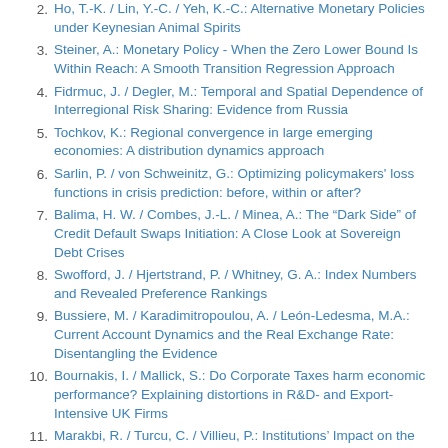Ho, T.-K. / Lin, Y.-C. / Yeh, K.-C.: Alternative Monetary Policies under Keynesian Animal Spirits
Steiner, A.: Monetary Policy - When the Zero Lower Bound Is Within Reach: A Smooth Transition Regression Approach
Fidrmuc, J. / Degler, M.: Temporal and Spatial Dependence of Interregional Risk Sharing: Evidence from Russia
Tochkov, K.: Regional convergence in large emerging economies: A distribution dynamics approach
Sarlin, P. / von Schweinitz, G.: Optimizing policymakers' loss functions in crisis prediction: before, within or after?
Balima, H. W. / Combes, J.-L. / Minea, A.: The “Dark Side” of Credit Default Swaps Initiation: A Close Look at Sovereign Debt Crises
Swofford, J. / Hjertstrand, P. / Whitney, G. A.: Index Numbers and Revealed Preference Rankings
Bussiere, M. / Karadimitropoulou, A. / León-Ledesma, M.A.: Current Account Dynamics and the Real Exchange Rate: Disentangling the Evidence
Bournakis, I. / Mallick, S.: Do Corporate Taxes harm economic performance? Explaining distortions in R&D- and Export-Intensive UK Firms
Marakbi, R. / Turcu, C. / Villieu, P.: Institutions’ Impact on the Corruption-Growth Nexus: Nonlinearities and …